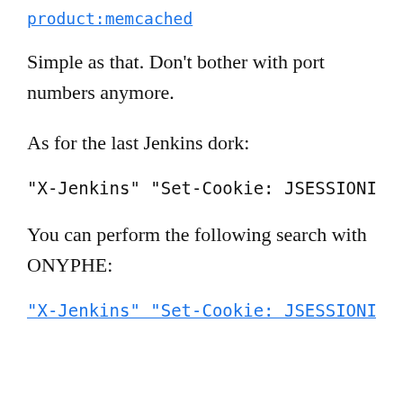product:memcached
Simple as that. Don’t bother with port numbers anymore.
As for the last Jenkins dork:
"X-Jenkins" "Set-Cookie: JSESSIONID
You can perform the following search with ONYPHE:
"X-Jenkins" "Set-Cookie: JSESSIONID